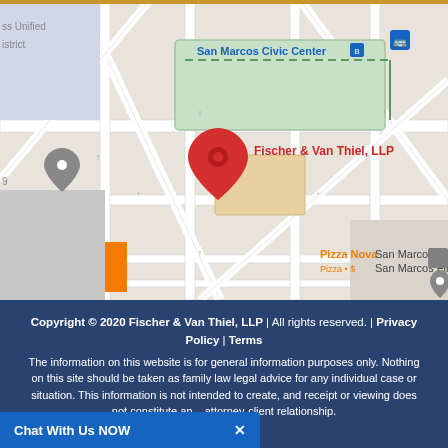[Figure (map): Google Maps screenshot showing the location of Fischer & Van Thiel, LLP near San Marcos Civic Center and San Marcos City Hall. A red pin marks the law firm location. Nearby labels include Pizza Nova (Pizza + $), San Marcos City Hall, San Marcos Fire, and a gray location pin to the left.]
Copyright © 2020 Fischer & Van Thiel, LLP | All rights reserved. | Privacy Policy | Terms The information on this website is for general information purposes only. Nothing on this site should be taken as family law legal advice for any individual case or situation. This information is not intended to create, and receipt or viewing does not ...attorney-client relationship.